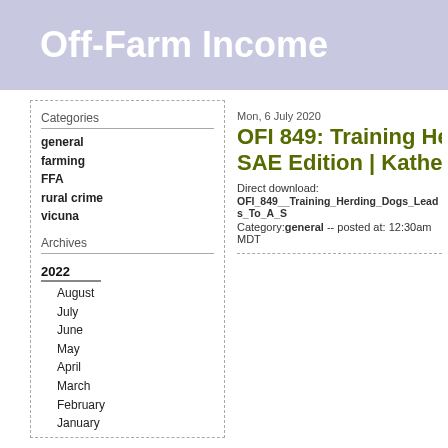Off-Farm Income
Categories
general
farming
FFA
rural crime
vicuna
Archives
2022
August
July
June
May
April
March
February
January
2021
December
Mon, 6 July 2020
OFI 849: Training Herding SAE Edition | Katherine N
Direct download:
OFI_849__Training_Herding_Dogs_Leads_To_A_S
Category:general -- posted at: 12:30am MDT